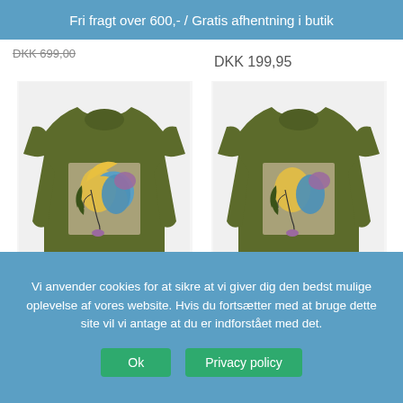Fri fragt over 600,- / Gratis afhentning i butik
DKK 699,00
DKK 199,95
[Figure (photo): Olive/khaki green long-sleeve T-shirt with abstract face print featuring yellow, blue, and purple shapes]
[Figure (photo): Olive/khaki green long-sleeve T-shirt with abstract face print featuring yellow, blue, and purple shapes]
Ciso, T-shirt, SORT m/print Style 21 4228
Ciso, T-shirt, Khaki m/print Style 21 4228
Vi anvender cookies for at sikre at vi giver dig den bedst mulige oplevelse af vores website. Hvis du fortsætter med at bruge dette site vil vi antage at du er indforstået med det.